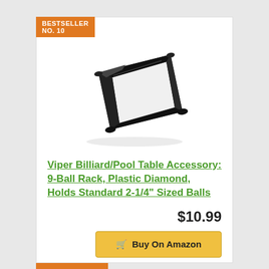BESTSELLER NO. 10
[Figure (photo): Black plastic diamond-shaped 9-ball billiard rack viewed at an angle on a white background]
Viper Billiard/Pool Table Accessory: 9-Ball Rack, Plastic Diamond, Holds Standard 2-1/4" Sized Balls
$10.99
Buy On Amazon